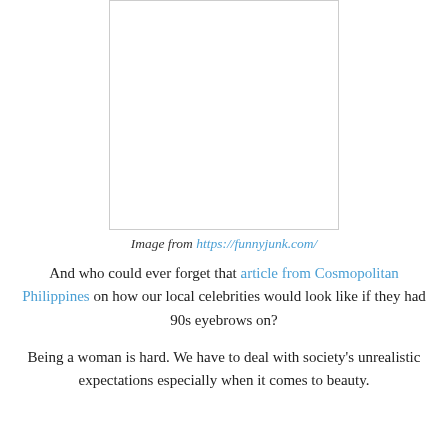[Figure (photo): A blank/white image placeholder with a light gray border, centered on the page.]
Image from https://funnyjunk.com/
And who could ever forget that article from Cosmopolitan Philippines on how our local celebrities would look like if they had 90s eyebrows on?
Being a woman is hard. We have to deal with society's unrealistic expectations especially when it comes to beauty.